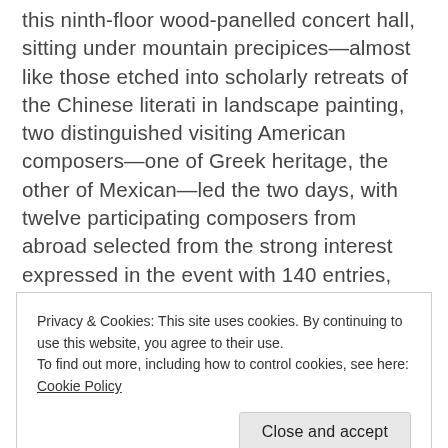this ninth-floor wood-panelled concert hall, sitting under mountain precipices—almost like those etched into scholarly retreats of the Chinese literati in landscape painting, two distinguished visiting American composers—one of Greek heritage, the other of Mexican—led the two days, with twelve participating composers from abroad selected from the strong interest expressed in the event with 140 entries, and diverse and rich creatives (composers and pianists) on the faculty of HKBU. Schreibeis's hope was that the deep 'intellectual inquiry' of the
Privacy & Cookies: This site uses cookies. By continuing to use this website, you agree to their use.
To find out more, including how to control cookies, see here: Cookie Policy
composers assembled in China to have cross